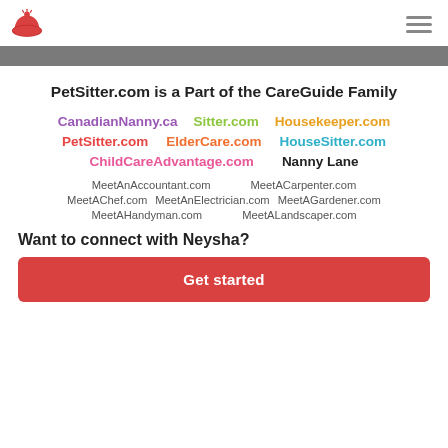PetSitter.com logo and hamburger menu
PetSitter.com is a Part of the CareGuide Family
CanadianNanny.ca  Sitter.com  Housekeeper.com
PetSitter.com  ElderCare.com  HouseSitter.com
ChildCareAdvantage.com  Nanny Lane
MeetAnAccountant.com  MeetACarpenter.com
MeetAChef.com  MeetAnElectrician.com  MeetAGardener.com
MeetAHandyman.com  MeetALandscaper.com
Want to connect with Neysha?
Get started